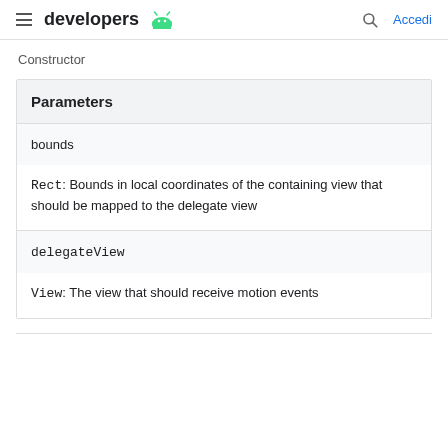developers  Accedi
Constructor
| Parameters |
| --- |
| bounds | Rect: Bounds in local coordinates of the containing view that should be mapped to the delegate view |
| delegateView | View: The view that should receive motion events |